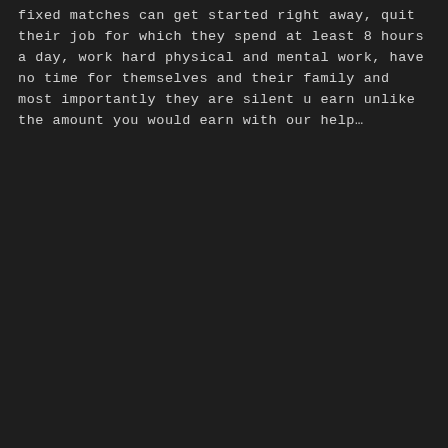fixed matches can get started right away, quit their job for which they spend at least 8 hours a day, work hard physical and mental work, have no time for themselves and their family and most importantly they are silent u earn unlike the amount you would earn with our help...